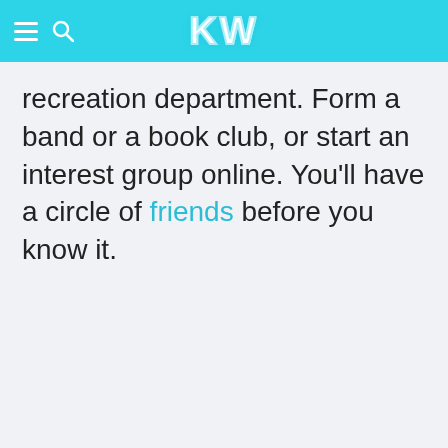KW
recreation department. Form a band or a book club, or start an interest group online. You'll have a circle of friends before you know it.